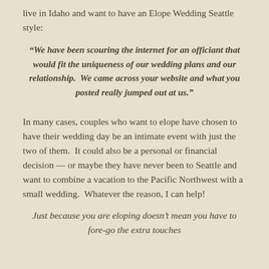live in Idaho and want to have an Elope Wedding Seattle style:
“We have been scouring the internet for an officiant that would fit the uniqueness of our wedding plans and our relationship.  We came across your website and what you posted really jumped out at us.”
In many cases, couples who want to elope have chosen to have their wedding day be an intimate event with just the two of them.  It could also be a personal or financial decision — or maybe they have never been to Seattle and want to combine a vacation to the Pacific Northwest with a small wedding.  Whatever the reason, I can help!
Just because you are eloping doesn’t mean you have to fore-go the extra touches